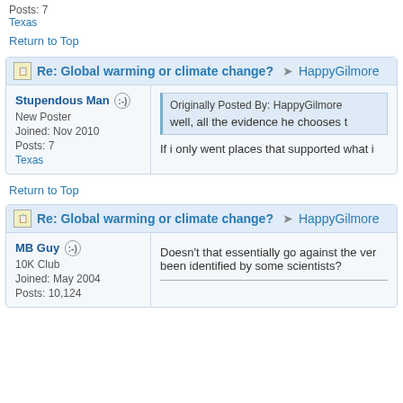Posts: 7
Texas
Return to Top
Re: Global warming or climate change? ➤ HappyGilmore
Stupendous Man
New Poster
Joined: Nov 2010
Posts: 7
Texas
Originally Posted By: HappyGilmore
well, all the evidence he chooses t
If i only went places that supported what i
Return to Top
Re: Global warming or climate change? ➤ HappyGilmore
MB Guy
10K Club
Joined: May 2004
Posts: 10,124
Doesn't that essentially go against the ver been identified by some scientists?